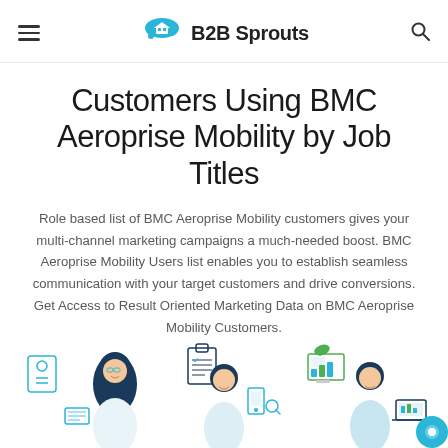B2B Sprouts
Customers Using BMC Aeroprise Mobility by Job Titles
Role based list of BMC Aeroprise Mobility customers gives your multi-channel marketing campaigns a much-needed boost. BMC Aeroprise Mobility Users list enables you to establish seamless communication with your target customers and drive conversions. Get Access to Result Oriented Marketing Data on BMC Aeroprise Mobility Customers.
[Figure (illustration): Three illustrated business personas with icons representing phone contacts, clipboard checklist, mobile device, computer dashboard and laptop — representing B2B marketing customer roles]